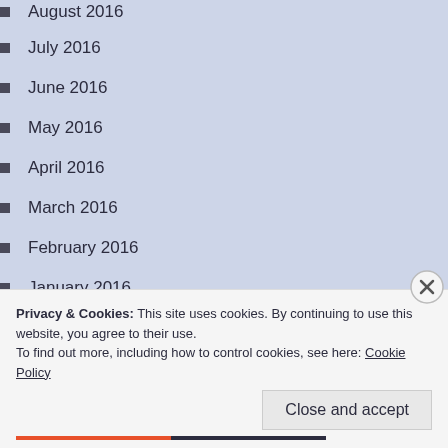August 2016
July 2016
June 2016
May 2016
April 2016
March 2016
February 2016
January 2016
December 2015
November 2015
October 2015
Privacy & Cookies: This site uses cookies. By continuing to use this website, you agree to their use.
To find out more, including how to control cookies, see here: Cookie Policy
Close and accept